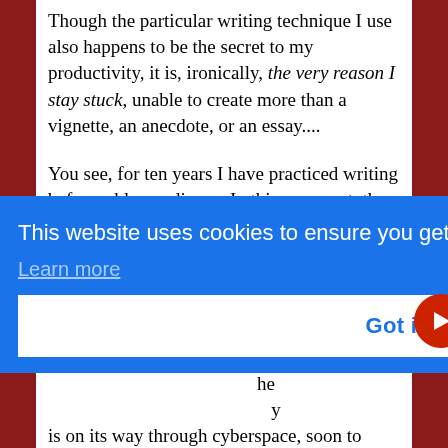Though the particular writing technique I use also happens to be the secret to my productivity, it is, ironically, the very reason I stay stuck, unable to create more than a vignette, an anecdote, or an essay....
You see, for ten years I have practiced writing before a blog audience. In this very post, the one you are now reading—very likely via email [partially obscured] ly, [partially obscured] e. [partially obscured] ne [partially obscured] he [partially obscured] y is on its way through cyberspace, soon to
[Figure (screenshot): Cookie consent banner overlay on a blog page. Blue background banner with white text: 'This website uses cookies to ensure you get the best experience on our website.' with a 'Learn more' link in light blue underlined text. Below is a white 'Got it!' button with blue text. A red circular arrow button appears at the right edge.]